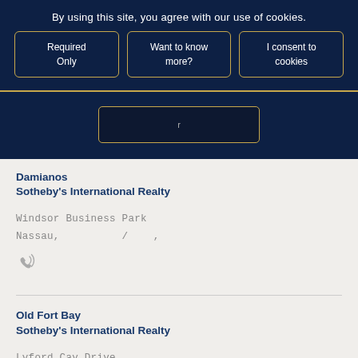By using this site, you agree with our use of cookies.
Required Only
Want to know more?
I consent to cookies
Damianos Sotheby's International Realty
Windsor Business Park
Nassau, / ,
[Figure (illustration): Phone/call icon in gray]
Old Fort Bay Sotheby's International Realty
Lyford Cay Drive